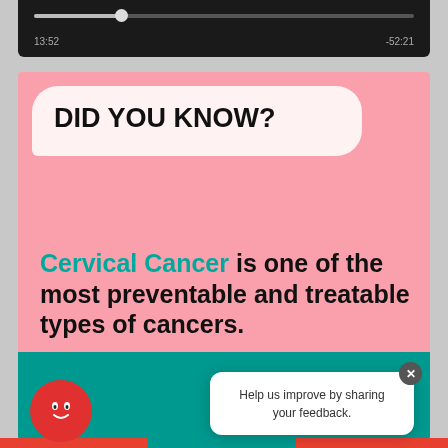[Figure (screenshot): Media player bar with progress track at 22%, time shown as 13:52 on left and -52:21 on right, dark background]
[Figure (infographic): Pink health awareness card with speech bubble saying DID YOU KNOW? and text: Cervical Cancer is one of the most preventable and treatable types of cancers. Teal bottom strip with logo and page counter (1/7). Red mascot icon and feedback popup overlay.]
DID YOU KNOW?
Cervical Cancer is one of the most preventable and treatable types of cancers.
Help us improve by sharing your feedback.
(1/7)